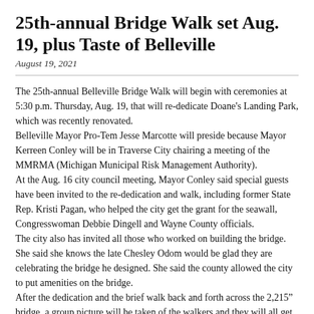25th-annual Bridge Walk set Aug. 19, plus Taste of Belleville
August 19, 2021
The 25th-annual Belleville Bridge Walk will begin with ceremonies at 5:30 p.m. Thursday, Aug. 19, that will re-dedicate Doane's Landing Park, which was recently renovated.
Belleville Mayor Pro-Tem Jesse Marcotte will preside because Mayor Kerreen Conley will be in Traverse City chairing a meeting of the MMRMA (Michigan Municipal Risk Management Authority).
At the Aug. 16 city council meeting, Mayor Conley said special guests have been invited to the re-dedication and walk, including former State Rep. Kristi Pagan, who helped the city get the grant for the seawall, Congresswoman Debbie Dingell and Wayne County officials.
The city also has invited all those who worked on building the bridge. She said she knows the late Chesley Odom would be glad they are celebrating the bridge he designed. She said the county allowed the city to put amenities on the bridge.
After the dedication and the brief walk back and forth across the 2,215" bridge, a group picture will be taken of the walkers and they will all get special certificates.
Then from 6 to 8 p.m. the Taste of Belleville will be held on High Street,